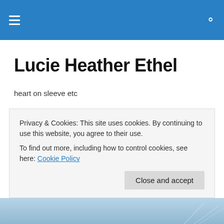Navigation header bar with hamburger menu and search icon
Lucie Heather Ethel
heart on sleeve etc
TAGGED WITH PORTLANDIA
Six days in Portlandia
For much of my stay in Portland, Oregon, the city looked...
Privacy & Cookies: This site uses cookies. By continuing to use this website, you agree to their use.
To find out more, including how to control cookies, see here: Cookie Policy
[Figure (photo): Partial view of a landscape or travel photo at the bottom of the page]